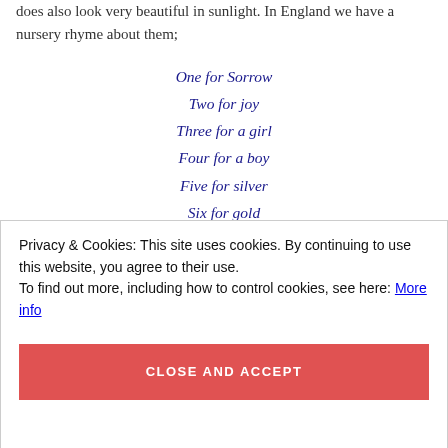does also look very beautiful in sunlight. In England we have a nursery rhyme about them;
One for Sorrow
Two for joy
Three for a girl
Four for a boy
Five for silver
Six for gold
Seven for a secret never to be told
Eight for a wish
Privacy & Cookies: This site uses cookies. By continuing to use this website, you agree to their use. To find out more, including how to control cookies, see here: More info
CLOSE AND ACCEPT